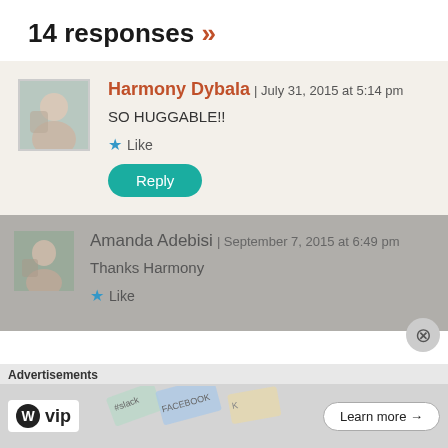14 responses »
Harmony Dybala | July 31, 2015 at 5:14 pm
SO HUGGABLE!!
Like
Reply
Amanda Adebisi | September 7, 2015 at 6:49 pm
Thanks Harmony
Like
Advertisements
WP vip  Learn more →